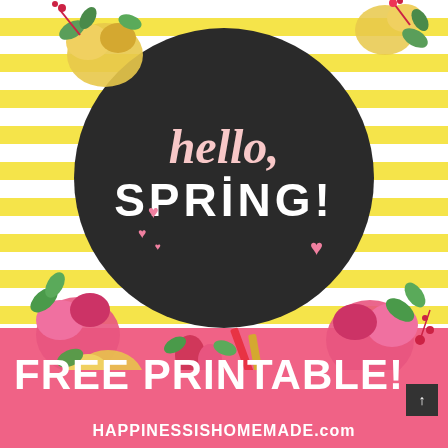[Figure (illustration): Spring floral printable with yellow stripe background, dark chalkboard circle, colorful roses and flowers, pink hearts, and text 'hello, SPRING!']
FREE PRINTABLE!
HAPPINESSISHOMEMADE.com